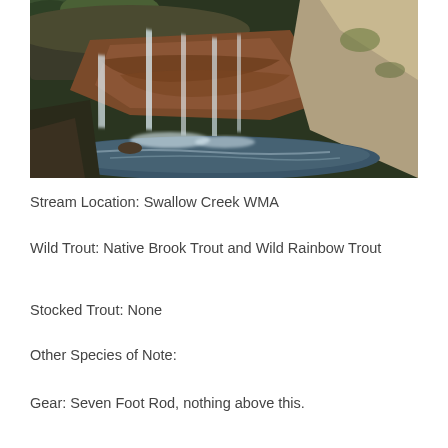[Figure (photo): A waterfall flowing over reddish-brown rocks with green mossy edges and a pool of water at the bottom. The water is blurred from a long exposure giving it a silky appearance.]
Stream Location: Swallow Creek WMA
Wild Trout: Native Brook Trout and Wild Rainbow Trout
Stocked Trout: None
Other Species of Note:
Gear: Seven Foot Rod, nothing above this.